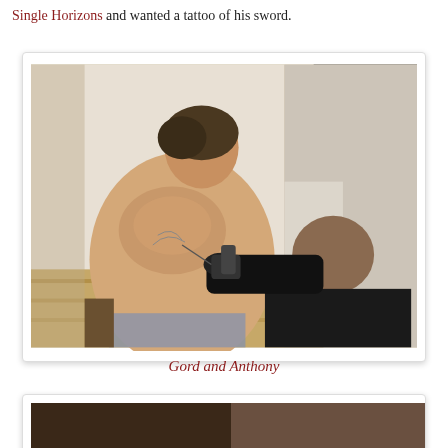Single Horizons and wanted a tattoo of his sword.
[Figure (photo): A man seated with his back exposed while a tattoo artist wearing black gloves applies a tattoo to his upper back/shoulder area using a tattoo machine. The setting appears to be an indoor tattoo studio with wooden floors and white walls.]
Gord and Anthony
[Figure (photo): Partial view of a second photo, cropped at the bottom of the page.]